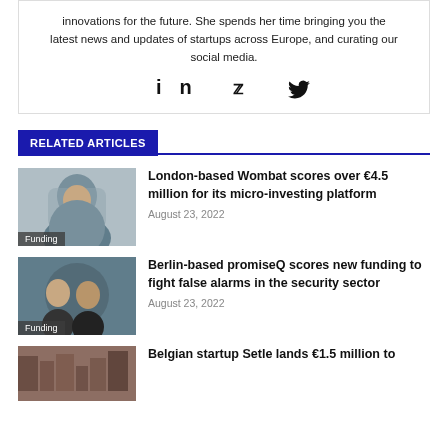innovations for the future. She spends her time bringing you the latest news and updates of startups across Europe, and curating our social media.
[Figure (illustration): LinkedIn and Twitter social media icons]
RELATED ARTICLES
[Figure (photo): Man with beard, Funding badge]
London-based Wombat scores over €4.5 million for its micro-investing platform
August 23, 2022
[Figure (photo): Two men in black shirts, Funding badge]
Berlin-based promiseQ scores new funding to fight false alarms in the security sector
August 23, 2022
[Figure (photo): Third article thumbnail image]
Belgian startup Setle lands €1.5 million to